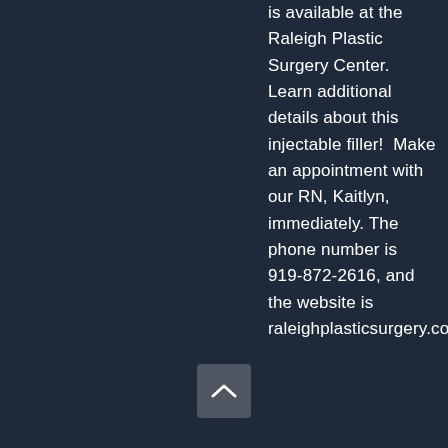is available at the Raleigh Plastic Surgery Center. Learn additional details about this injectable filler!  Make an appointment with our RN, Kaitlyn, immediately. The phone number is 919-872-2616, and the website is raleighplasticsurgery.com.
[Figure (other): A scroll-to-top button with an upward pointing chevron arrow, semi-transparent gray rounded rectangle button]